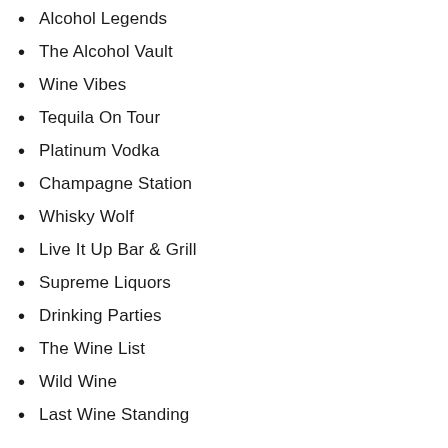Alcohol Legends
The Alcohol Vault
Wine Vibes
Tequila On Tour
Platinum Vodka
Champagne Station
Whisky Wolf
Live It Up Bar & Grill
Supreme Liquors
Drinking Parties
The Wine List
Wild Wine
Last Wine Standing